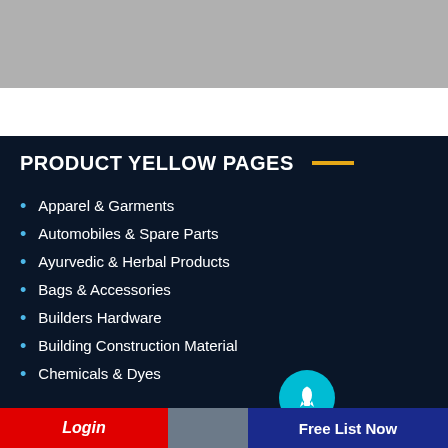PRODUCT YELLOW PAGES
Apparel & Garments
Automobiles & Spare Parts
Ayurvedic & Herbal Products
Bags & Accessories
Builders Hardware
Building Construction Material
Chemicals & Dyes
Login
Free List Now